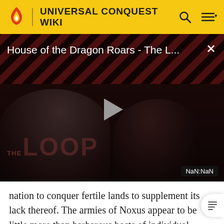UNIVERSAL CONQUEST WIKI
[Figure (screenshot): Video player thumbnail showing 'House of the Dragon Roars - The L...' with play button, dark background with diagonal red/dark stripes, two silhouetted figures, THE LOOP watermark, and NaN:NaN duration badge]
nation to conquer fertile lands to supplement its lack thereof. The armies of Noxus appear to be little more than barbarous hosts of individual warbands, but this belies the discipline and sophistication required to make such a formation viable. Noxus foregoes a strict rigid